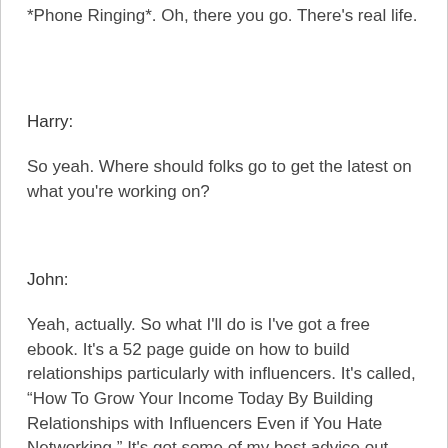*Phone Ringing*. Oh, there you go. There's real life.
Harry:
So yeah. Where should folks go to get the latest on what you're working on?
John:
Yeah, actually. So what I'll do is I've got a free ebook. It's a 52 page guide on how to build relationships particularly with influencers. It's called, “How To Grow Your Income Today By Building Relationships with Influencers Even if You Hate Networking.” It's got some of my best advice out there and I'll just go and setup a welcome page for your listeners. They can go check it out at